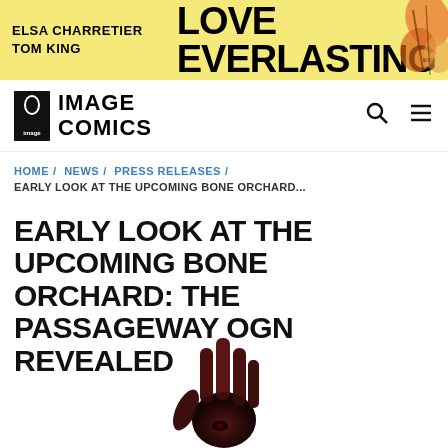[Figure (illustration): Banner advertisement for 'Love Everlasting' by Elsa Charretier and Tom King on a yellow background with orange floral elements]
[Figure (logo): Image Comics logo - black rectangle with 'image' text and bold IMAGE COMICS text]
HOME / NEWS / PRESS RELEASES / EARLY LOOK AT THE UPCOMING BONE ORCHARD...
EARLY LOOK AT THE UPCOMING BONE ORCHARD: THE PASSAGEWAY OGN REVEALED
[Figure (illustration): A dark reddish-brown human hand reaching upward against a white background, appears to be book cover art]